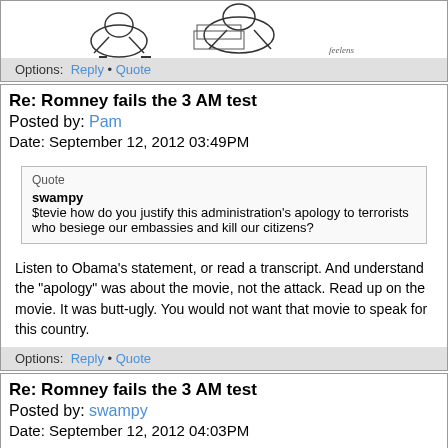[Figure (illustration): Cartoon/illustration showing animal characters, partial view at top of page]
Options:  Reply • Quote
Re: Romney fails the 3 AM test
Posted by: Pam
Date: September 12, 2012 03:49PM
Quote
swampy
$tevie how do you justify this administration's apology to terrorists who besiege our embassies and kill our citizens?
Listen to Obama's statement, or read a transcript. And understand the "apology" was about the movie, not the attack. Read up on the movie. It was butt-ugly. You would not want that movie to speak for this country.
Options:  Reply • Quote
Re: Romney fails the 3 AM test
Posted by: swampy
Date: September 12, 2012 04:03PM
Twitchy is forever
[twitchy.com]